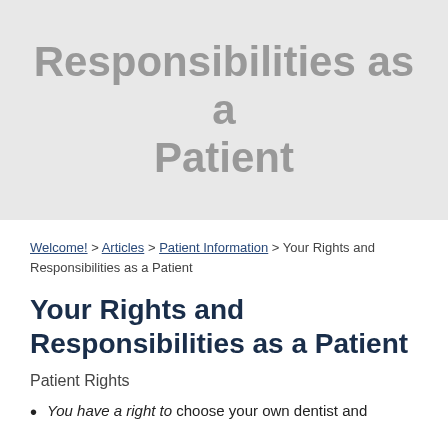Your Rights and Responsibilities as a Patient
Welcome! > Articles > Patient Information > Your Rights and Responsibilities as a Patient
Your Rights and Responsibilities as a Patient
Patient Rights
You have a right to choose your own dentist and